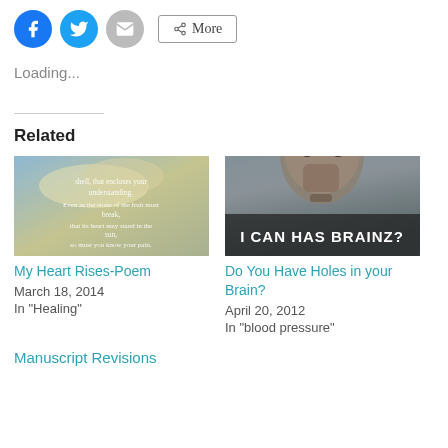[Figure (other): Social share buttons: Facebook (blue circle), Twitter (blue circle), Email (grey circle), More button]
Loading...
Related
[Figure (illustration): Poem quote image with text: shell, that encloses your understanding. Even as the stone of the fruit must break, that its heart may stand in the sun, so must you know your pain.]
My Heart Rises-Poem
March 18, 2014
In "Healing"
[Figure (photo): Person with a contemplative expression, text overlay reads: I CAN HAS BRAINZ?]
Do You Have Holes in your Brain?
April 20, 2012
In "blood pressure"
Manuscript Revisions